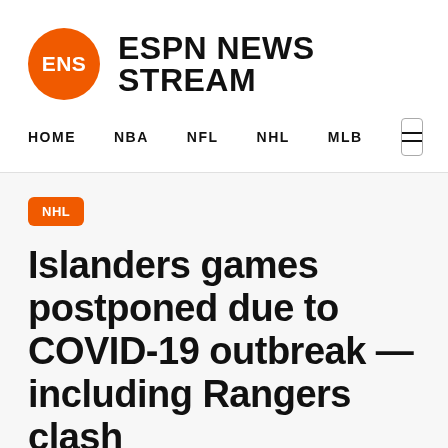ENS ESPN NEWS STREAM
HOME  NBA  NFL  NHL  MLB
NHL
Islanders games postponed due to COVID-19 outbreak — including Rangers clash